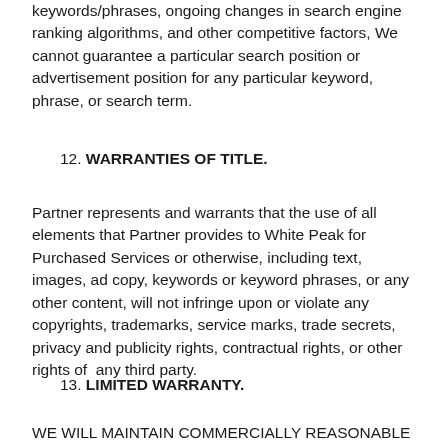keywords/phrases, ongoing changes in search engine ranking algorithms, and other competitive factors, We cannot guarantee a particular search position or advertisement position for any particular keyword, phrase, or search term.
12. WARRANTIES OF TITLE.
Partner represents and warrants that the use of all elements that Partner provides to White Peak for Purchased Services or otherwise, including text, images, ad copy, keywords or keyword phrases, or any other content, will not infringe upon or violate any copyrights, trademarks, service marks, trade secrets, privacy and publicity rights, contractual rights, or other rights of any third party.
13. LIMITED WARRANTY.
WE WILL MAINTAIN COMMERCIALLY REASONABLE